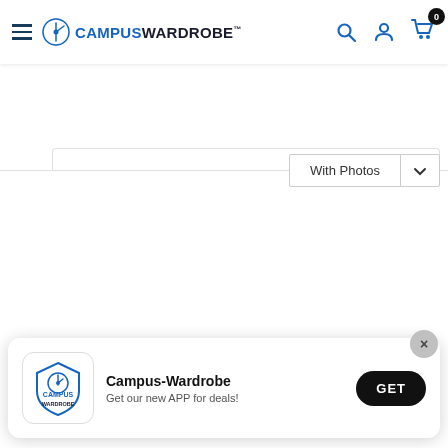[Figure (screenshot): Campus Wardrobe website navigation bar with hamburger menu, logo, search icon, user icon, and shopping cart with badge showing 0]
[Figure (screenshot): Filter dropdown button showing 'With Photos' with a chevron/arrow]
[Figure (screenshot): App install banner for Campus-Wardrobe app with logo icon, text 'Get our new APP for deals!' and a GET button]